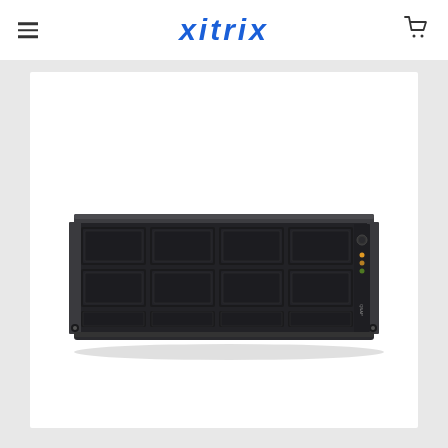xitrix
[Figure (photo): A 2U rack-mounted NAS server with 12 drive bays arranged in a 3x4 grid on the front panel. The unit has a dark gray/charcoal chassis with a black front face, LED indicators on the right side, and a power button. The brand name QNAP appears on the right side of the front panel.]